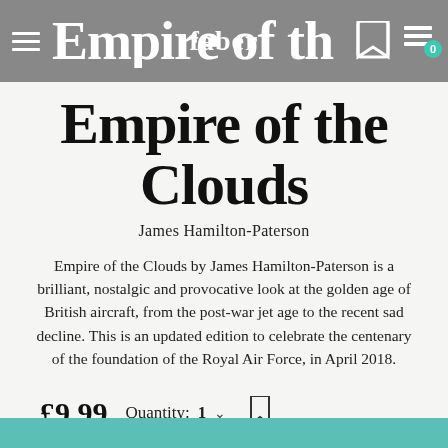Empire of the Clouds — faber (navigation bar)
Empire of the Clouds
James Hamilton-Paterson
Empire of the Clouds by James Hamilton-Paterson is a brilliant, nostalgic and provocative look at the golden age of British aircraft, from the post-war jet age to the recent sad decline. This is an updated edition to celebrate the centenary of the foundation of the Royal Air Force, in April 2018.
£9.99   Quantity: 1
Add to Basket